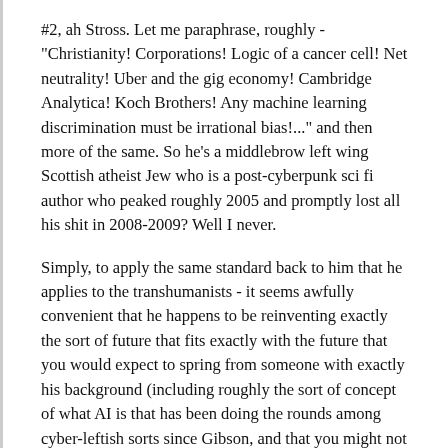#2, ah Stross. Let me paraphrase, roughly - "Christianity! Corporations! Logic of a cancer cell! Net neutrality! Uber and the gig economy! Cambridge Analytica! Koch Brothers! Any machine learning discrimination must be irrational bias!..." and then more of the same. So he's a middlebrow left wing Scottish atheist Jew who is a post-cyberpunk sci fi author who peaked roughly 2005 and promptly lost all his shit in 2008-2009? Well I never.
Simply, to apply the same standard back to him that he applies to the transhumanists - it seems awfully convenient that he happens to be reinventing exactly the sort of future that fits exactly with the future that you would expect to spring from someone with exactly his background (including roughly the sort of concept of what AI is that has been doing the rounds among cyber-leftish sorts since Gibson, and that you might not get out, say, Hassabis). And exactly the sort of future that his Guardianista audience would lap up like cream (and given the "theology" of his contemporary social tribe it's a pretty nasty one). That should weaken your confidence that he's anywhere pointing anywhere near to correct.